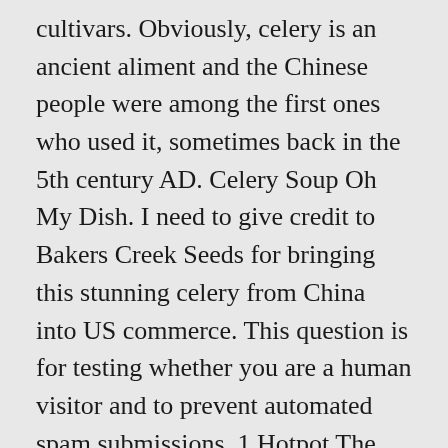cultivars. Obviously, celery is an ancient aliment and the Chinese people were among the first ones who used it, sometimes back in the 5th century AD. Celery Soup Oh My Dish. I need to give credit to Bakers Creek Seeds for bringing this stunning celery from China into US commerce. This question is for testing whether you are a human visitor and to prevent automated spam submissions. 1 Hotpot The celery name comes from the Greek word “selinon”, which was used in the famous Odyssey of Homer. You won't be disappointed with this unusual stir-fry! Celery Root in a Chinese Stir-Fry. How to plant celery. It is used as a flavoring in soups and sometimes pickled as a side dish. The stems are thinner than those